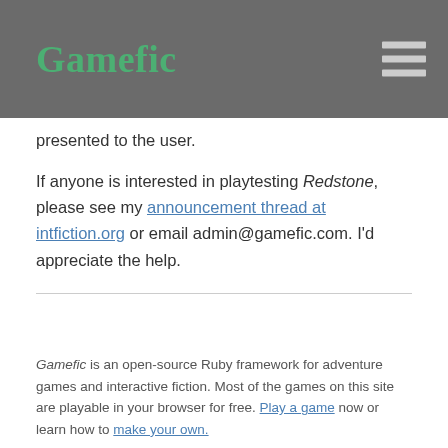Gamefic
presented to the user.
If anyone is interested in playtesting Redstone, please see my announcement thread at intfiction.org or email admin@gamefic.com. I'd appreciate the help.
Gamefic is an open-source Ruby framework for adventure games and interactive fiction. Most of the games on this site are playable in your browser for free. Play a game now or learn how to make your own.
Recent Articles
Experimenting with Procedurally Generated Mysteries